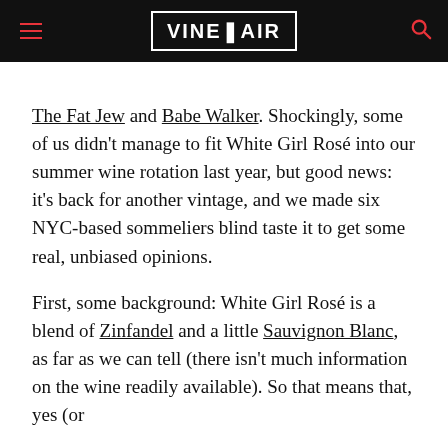VINEPAIR
The Fat Jew and Babe Walker. Shockingly, some of us didn't manage to fit White Girl Rosé into our summer wine rotation last year, but good news: it's back for another vintage, and we made six NYC-based sommeliers blind taste it to get some real, unbiased opinions.
First, some background: White Girl Rosé is a blend of Zinfandel and a little Sauvignon Blanc, as far as we can tell (there isn't much information on the wine readily available). So that means that, yes (or